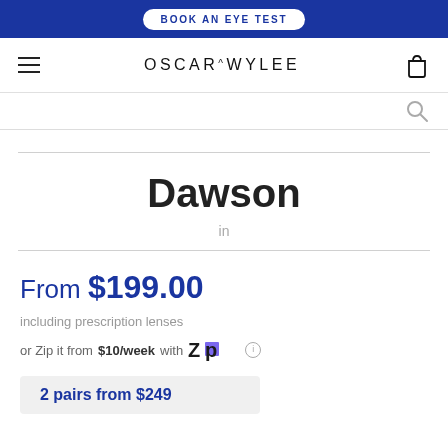BOOK AN EYE TEST
[Figure (logo): Oscar Wylee logo with hamburger menu and bag icon in navigation bar]
Dawson
in
From $199.00
including prescription lenses
or Zip it from $10/week with Zip
2 pairs from $249